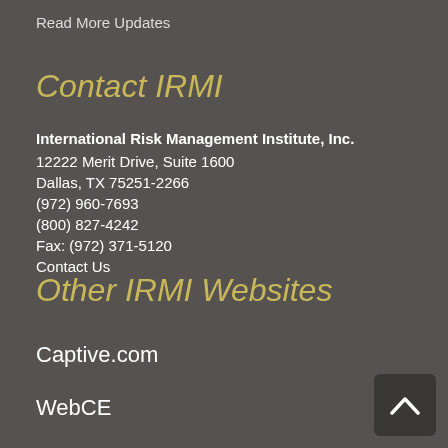Read More Updates
Contact IRMI
International Risk Management Institute, Inc.
12222 Merit Drive, Suite 1600
Dallas, TX 75251-2266
(972) 960-7693
(800) 827-4242
Fax: (972) 371-5120
Contact Us
Other IRMI Websites
Captive.com
WebCE